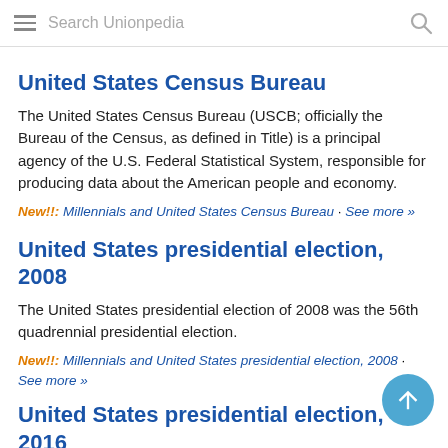Search Unionpedia
United States Census Bureau
The United States Census Bureau (USCB; officially the Bureau of the Census, as defined in Title) is a principal agency of the U.S. Federal Statistical System, responsible for producing data about the American people and economy.
New!!: Millennials and United States Census Bureau · See more »
United States presidential election, 2008
The United States presidential election of 2008 was the 56th quadrennial presidential election.
New!!: Millennials and United States presidential election, 2008 · See more »
United States presidential election, 2016